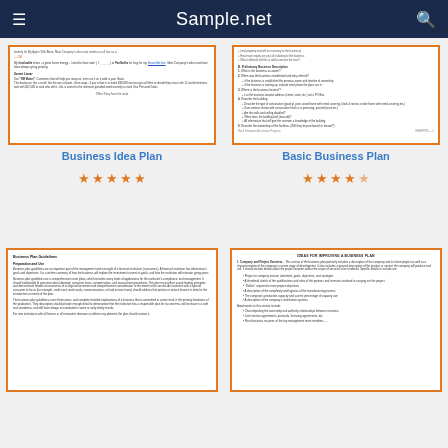Sample.net
[Figure (screenshot): Document preview card for Business Idea Plan]
Business Idea Plan
[Figure (other): 5 orange stars rating for Business Idea Plan]
[Figure (screenshot): Document preview card for Basic Business Plan]
Basic Business Plan
[Figure (other): 4.5 orange stars rating for Basic Business Plan]
[Figure (screenshot): Document preview card for Business Plan Guidelines]
[Figure (screenshot): Document preview card for Ideas for Improving a Business Plan]